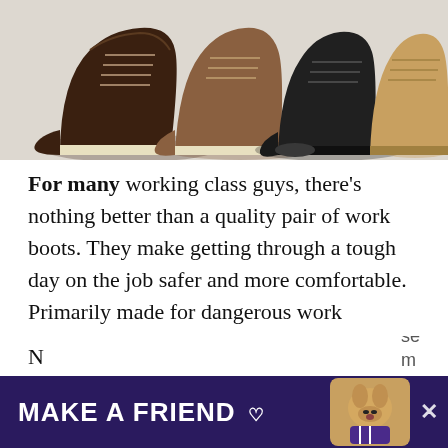[Figure (photo): Three work boots displayed together on a light background: a dark brown moc-toe boot on the left, a medium brown boot in the center, a black boot and a tan/wheat-colored boot on the right.]
For many working class guys, there's nothing better than a quality pair of work boots. They make getting through a tough day on the job safer and more comfortable. Primarily made for dangerous work environments, these boots are designed to improve job performance by keeping feet and toes out of harm's way.
[Figure (screenshot): Advertisement banner with purple background showing 'MAKE A FRIEND' in white bold text with a heart icon and a dog image, overlaid on partially visible article text below.]